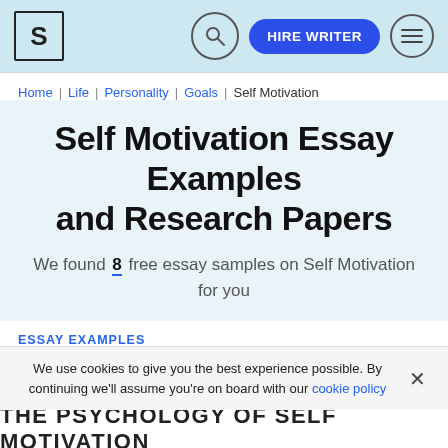S | HIRE WRITER
Home | Life | Personality | Goals | Self Motivation
Self Motivation Essay Examples and Research Papers
We found 8 free essay samples on Self Motivation for you
ESSAY EXAMPLES
We use cookies to give you the best experience possible. By continuing we'll assume you're on board with our cookie policy
THE PSYCHOLOGY OF SELF MOTIVATION